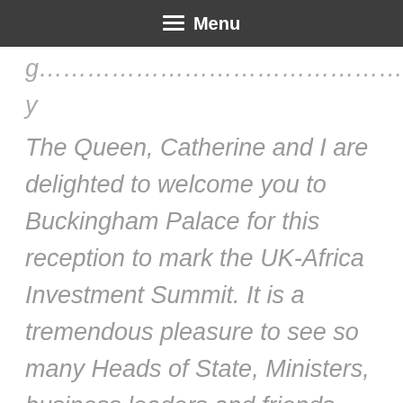Menu
The Queen, Catherine and I are delighted to welcome you to Buckingham Palace for this reception to mark the UK-Africa Investment Summit. It is a tremendous pleasure to see so many Heads of State, Ministers, business leaders and friends from both Africa and the UK here tonight. My grandmother is sorry not to be here this evening, but she